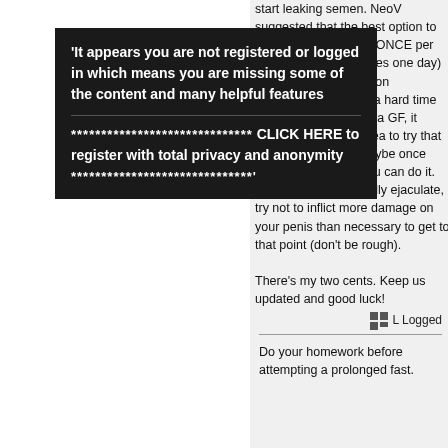[Figure (screenshot): Dark popup overlay with registration prompt text and click here link]
start leaking semen. NeoV suggested that the best option to limit sexual activity to ONCE per week (not multiple times one day) since taking antierection medication and have a hard time abstaining, as well as a GF, it might not be a bad idea to try that once a week limit. Maybe once every two weeks if you can do it. And when you do finally ejaculate, try not to inflict more damage on your penis than necessary to get to that point (don't be rough).
There's my two cents. Keep us updated and good luck!
Logged
Do your homework before attempting a prolonged fast.